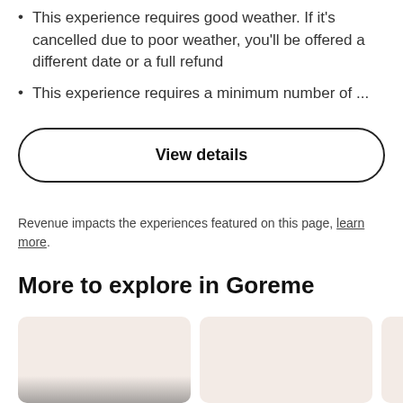This experience requires good weather. If it's cancelled due to poor weather, you'll be offered a different date or a full refund
This experience requires a minimum number of ...
View details
Revenue impacts the experiences featured on this page, learn more.
More to explore in Goreme
[Figure (photo): Two image cards partially visible at the bottom of the page showing Goreme experiences, with a third card partially cut off on the right]